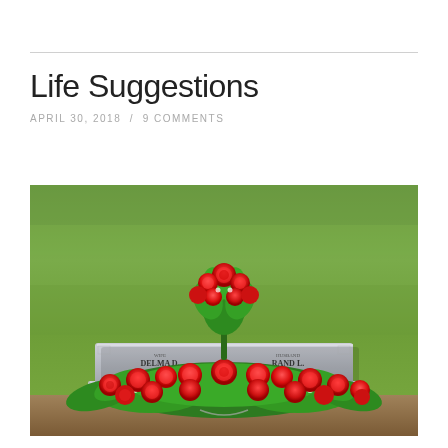Life Suggestions
APRIL 30, 2018  /  9 COMMENTS
[Figure (photo): A grave headstone with red silk flower arrangements — a tall standing bouquet and a wide casket spray with red roses and green foliage — placed on a gray granite double headstone on a grassy cemetery lawn. The headstone reads DELMA D. and RAND L. with birth and death dates.]